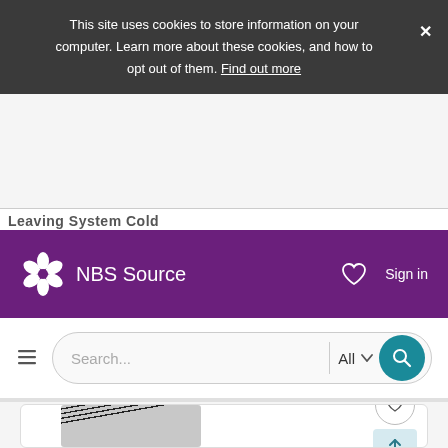This site uses cookies to store information on your computer. Learn more about these cookies, and how to opt out of them. Find out more
Leaving System Cold
[Figure (screenshot): NBS Source website header with purple navigation bar showing NBS Source logo, heart/favourites icon, and Sign in button]
[Figure (screenshot): Search bar with hamburger menu, text input placeholder 'Search...', All dropdown, and teal search button]
[Figure (photo): Product card showing roofing image with black and white striped surface, heart icon and upload icon buttons]